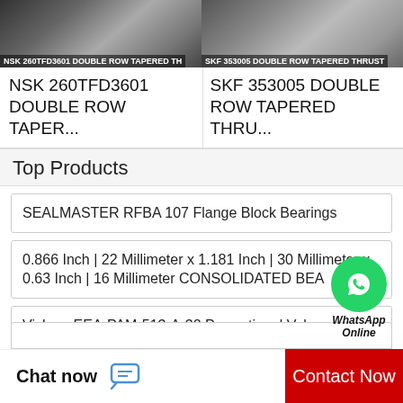[Figure (photo): NSK 260TFD3601 DOUBLE ROW TAPERED THRUST bearing photo, dark/metallic]
NSK 260TFD3601 DOUBLE ROW TAPER...
[Figure (photo): SKF 353005 DOUBLE ROW TAPERED THRUST bearing photo, dark/metallic]
SKF 353005 DOUBLE ROW TAPERED THRU...
Top Products
SEALMASTER RFBA 107 Flange Block Bearings
0.866 Inch | 22 Millimeter x 1.181 Inch | 30 Millimeter x 0.63 Inch | 16 Millimeter CONSOLIDATED BEA
Vickers EEA-PAM-513-A-32 Proportional Valve Amplifier Board
[Figure (logo): WhatsApp Online bubble icon with green circle and phone icon, text: WhatsApp Online]
Chat now | Contact Now